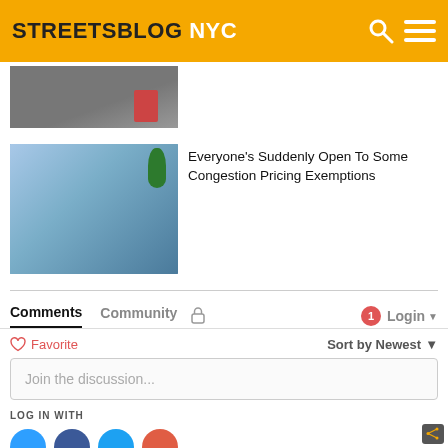STREETSBLOG NYC
[Figure (photo): Partial view of a road/street scene with a red figure, cropped at top]
[Figure (photo): Three men in suits standing outdoors near trees]
Everyone's Suddenly Open To Some Congestion Pricing Exemptions
Comments  Community  🔒    1  Login ▼
♡ Favorite   Sort by Newest ▼
Join the discussion...
LOG IN WITH
[Figure (logo): Social login icons: Disqus, Facebook, Twitter, Google]